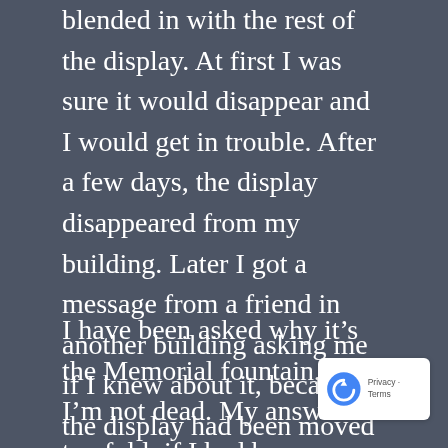blended in with the rest of the display. At first I was sure it would disappear and I would get in trouble. After a few days, the display disappeared from my building. Later I got a message from a friend in another building asking me if I knew about it, because the display had been moved to his building and he had recognized the name. I knew about the display moving to two other buildings after that, and I never heard from anyone about it. I walked by it a few months later and it was still there.
I have been asked why it's the Memorial fountain, as I'm not dead. My answer is twofold: if I had been discovered by the wrong people, I might have been dead, and this way I
[Figure (other): reCAPTCHA badge with logo and Privacy - Terms text]